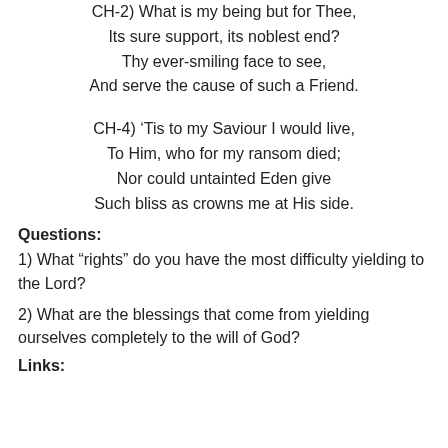CH-2) What is my being but for Thee,
Its sure support, its noblest end?
Thy ever-smiling face to see,
And serve the cause of such a Friend.
CH-4) 'Tis to my Saviour I would live,
To Him, who for my ransom died;
Nor could untainted Eden give
Such bliss as crowns me at His side.
Questions:
1) What “rights” do you have the most difficulty yielding to the Lord?
2) What are the blessings that come from yielding ourselves completely to the will of God?
Links: